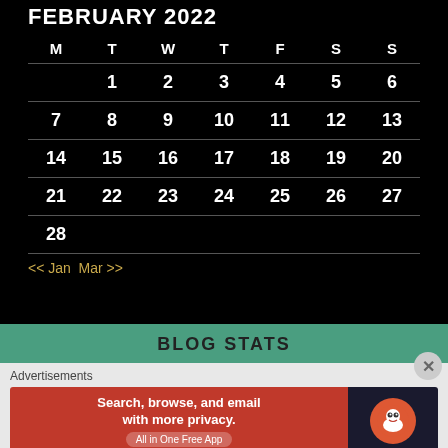FEBRUARY 2022
| M | T | W | T | F | S | S |
| --- | --- | --- | --- | --- | --- | --- |
|  | 1 | 2 | 3 | 4 | 5 | 6 |
| 7 | 8 | 9 | 10 | 11 | 12 | 13 |
| 14 | 15 | 16 | 17 | 18 | 19 | 20 |
| 21 | 22 | 23 | 24 | 25 | 26 | 27 |
| 28 |  |  |  |  |  |  |
<< Jan  Mar >>
BLOG STATS
Advertisements
[Figure (other): DuckDuckGo advertisement banner: Search, browse, and email with more privacy. All in One Free App]